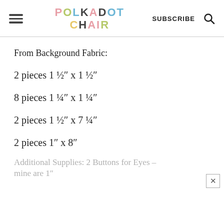POLKADOT CHAIR | SUBSCRIBE
From Background Fabric:
2 pieces 1 ½″ x 1 ½″
8 pieces 1 ¼″ x 1 ¼″
2 pieces 1 ½″ x 7 ¼″
2 pieces 1″ x 8″
Additional Supplies: 2 Buttons for Eyes – mine are 1″